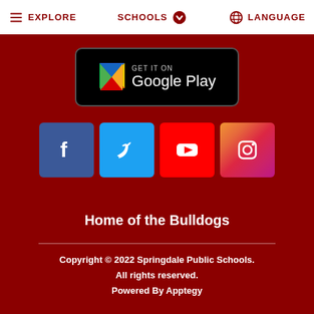EXPLORE   SCHOOLS   LANGUAGE
[Figure (logo): Get it on Google Play badge — black rounded rectangle with Google Play triangle logo and text 'GET IT ON Google Play']
[Figure (infographic): Social media icons: Facebook (blue), Twitter (light blue), YouTube (red), Instagram (gradient pink/purple)]
Home of the Bulldogs
Copyright © 2022 Springdale Public Schools. All rights reserved. Powered By Apptegy